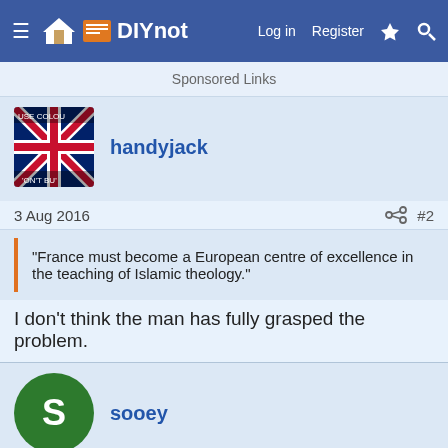DIYnot — Log in  Register
Sponsored Links
handyjack
3 Aug 2016  #2
"France must become a European centre of excellence in the teaching of Islamic theology."
I don't think the man has fully grasped the problem.
sooey
3 Aug 2016  #3